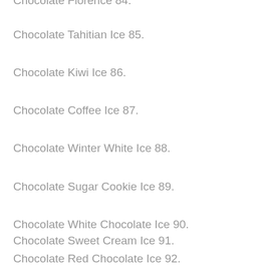Chocolate Florence 84.
Chocolate Tahitian Ice 85.
Chocolate Kiwi Ice 86.
Chocolate Coffee Ice 87.
Chocolate Winter White Ice 88.
Chocolate Sugar Cookie Ice 89.
Chocolate White Chocolate Ice 90.
Chocolate Sweet Cream Ice 91.
Chocolate Red Chocolate Ice 92.